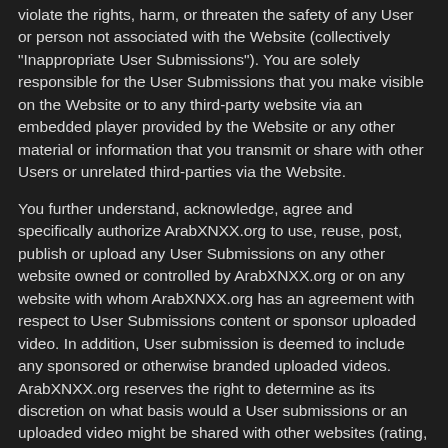violate the rights, harm, or threaten the safety of any User or person not associated with the Website (collectively "Inappropriate User Submissions"). You are solely responsible for the User Submissions that you make visible on the Website or to any third-party website via an embedded player provided by the Website or any other material or information that you transmit or share with other Users or unrelated third-parties via the Website.
You further understand, acknowledge, agree and specifically authorize ArabXNXX.org to use, reuse, post, publish or upload any User Submissions on any other website owned or controlled by ArabXNXX.org or on any website with whom ArabXNXX.org has an agreement with respect to User Submissions content or sponsor uploaded video. In addition, User submission is deemed to include any sponsored or otherwise branded uploaded videos. ArabXNXX.org reserves the right to determine as its discretion on what basis would a User submissions or an uploaded video might be shared with other websites (rating, number of views, user reviews, etc.).
7. ACCOUNT TERMINATION POLICY
A User's access to ArabXNXX.org will be terminated if, under appropriate conditions, the User is determined to infringe repeatedly